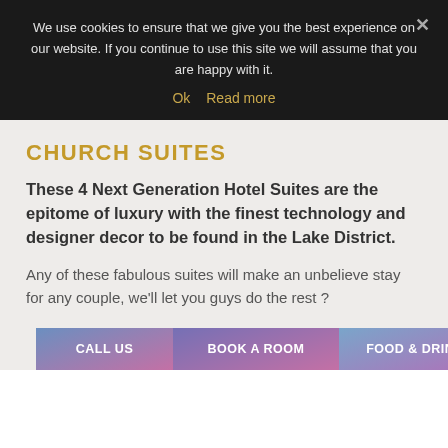We use cookies to ensure that we give you the best experience on our website. If you continue to use this site we will assume that you are happy with it.
Ok   Read more
CHURCH SUITES
These 4 Next Generation Hotel Suites are the epitome of luxury with the finest technology and designer decor to be found in the Lake District.
Any of these fabulous suites will make an unbelieve stay for any couple, we'll let you guys do the rest ?
CALL US   BOOK A ROOM   FOOD & DRINK